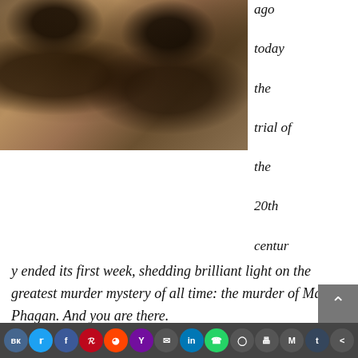[Figure (photo): Sepia-toned historical photograph of two men, one on the left and one on the right wearing a hat, appearing to be from the early 20th century.]
ago today the trial of the 20th centur
y ended its first week, shedding brilliant light on the greatest murder mystery of all time: the murder of Mary Phagan. And you are there.
[Figure (other): Audio player bar with play button, progress bar, and time display showing 00:00 on both sides.]
(Click the play button for our audio book version of this article.)
Social sharing icons: VK, Twitter, Facebook, Pinterest, Reddit, Yahoo, Email, LinkedIn, WhatsApp, Instagram, Print, Medium, Tumblr, Share